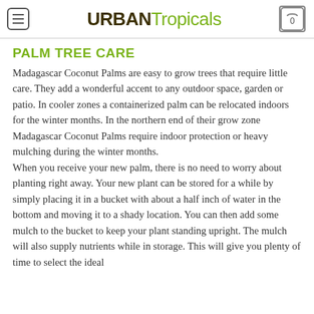URBAN Tropicals
PALM TREE CARE
Madagascar Coconut Palms are easy to grow trees that require little care. They add a wonderful accent to any outdoor space, garden or patio. In cooler zones a containerized palm can be relocated indoors for the winter months. In the northern end of their grow zone Madagascar Coconut Palms require indoor protection or heavy mulching during the winter months.
When you receive your new palm, there is no need to worry about planting right away. Your new plant can be stored for a while by simply placing it in a bucket with about a half inch of water in the bottom and moving it to a shady location. You can then add some mulch to the bucket to keep your plant standing upright. The mulch will also supply nutrients while in storage. This will give you plenty of time to select the ideal